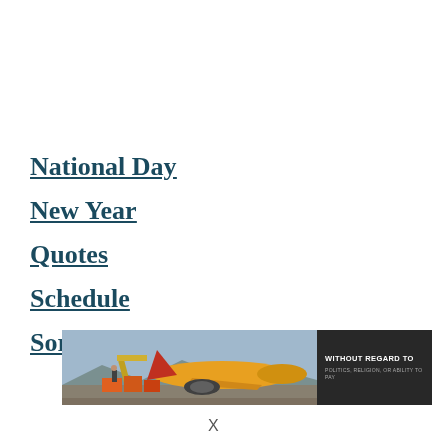National Day
New Year
Quotes
Schedule
Sorry
[Figure (photo): Advertisement banner showing a cargo airplane being loaded on a tarmac with an orange/red wing visible, and a dark text box on the right reading 'WITHOUT REGARD TO POLITICS, RELIGION, OR ABILITY TO PAY']
X